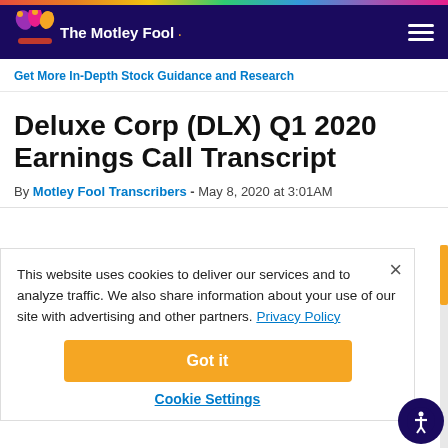The Motley Fool
Get More In-Depth Stock Guidance and Research
Deluxe Corp (DLX) Q1 2020 Earnings Call Transcript
By Motley Fool Transcribers - May 8, 2020 at 3:01AM
This website uses cookies to deliver our services and to analyze traffic. We also share information about your use of our site with advertising and other partners. Privacy Policy
Got it
Cookie Settings